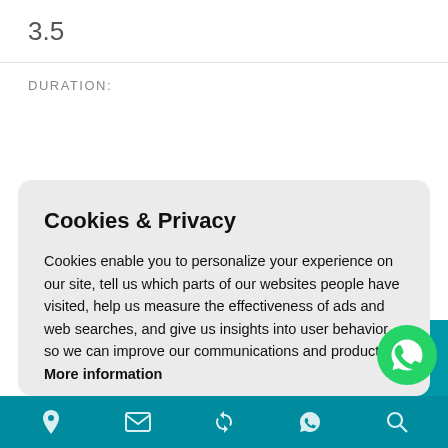3.5
DURATION:
Cookies & Privacy
Cookies enable you to personalize your experience on our site, tell us which parts of our websites people have visited, help us measure the effectiveness of ads and web searches, and give us insights into user behavior so we can improve our communications and products. More information
Accept Cookies
Customise Cookies
[Figure (logo): WhatsApp green chat bubble icon with phone handset]
Navigation bar with location, mail, refresh, whatsapp, and search icons on teal background